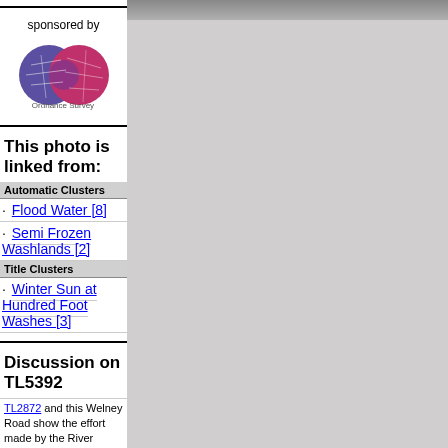[Figure (photo): Outdoor photograph, grey sky and landscape, top of page right column]
sponsored by
[Figure (logo): Ordnance Survey logo with two circular globe icons and text 'Ordnance Survey']
This photo is linked from:
Automatic Clusters
· Flood Water [8]
· Semi Frozen Washlands [2]
Title Clusters
· Winter Sun at Hundred Foot Washes [3]
Discussion on TL5392
TL2872 and this Welney Road show the effort made by the River Authority 1963 Act of Parliament